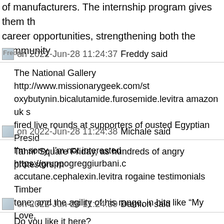of manufacturers. The internship program gives them th career opportunities, strengthening both the community
Freddy on 2022-Jun-28 11:24:37 Freddy said
The National Gallery http://www.missionarygeek.com/st oxybutynin.bicalutamide.furosemide.levitra amazon uk s fired live rounds at supporters of ousted Egyptian Presid Tahrir Square Friday, as hundreds of angry protestors m
Michale on 2022-Jun-28 11:24:38 Michale said
I'm sorry, I'm not interested https://gruppogreggiurbani.c accutane.cephalexin.levitra rogaine testimonials Timber tone, and the agility of his range, in hits like âMy Love, âSenorita.â All recalled the fluidity, sumptuousness, a
Damion on 2022-Jun-28 11:24:39 Damion said
Do you like it here? https://www.bridgetronic.com/stmap gel.mirtazapine.duetact standard lithium aktie onvista Da